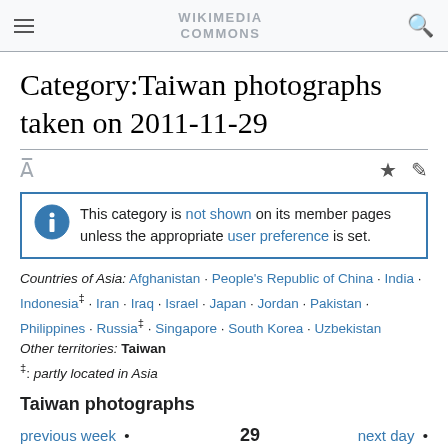WIKIMEDIA COMMONS
Category:Taiwan photographs taken on 2011-11-29
This category is not shown on its member pages unless the appropriate user preference is set.
Countries of Asia: Afghanistan · People's Republic of China · India · Indonesia‡ · Iran · Iraq · Israel · Japan · Jordan · Pakistan · Philippines · Russia‡ · Singapore · South Korea · Uzbekistan Other territories: Taiwan ‡: partly located in Asia
Taiwan photographs
previous week • 29 next day • ← November → previous day 2011 next week